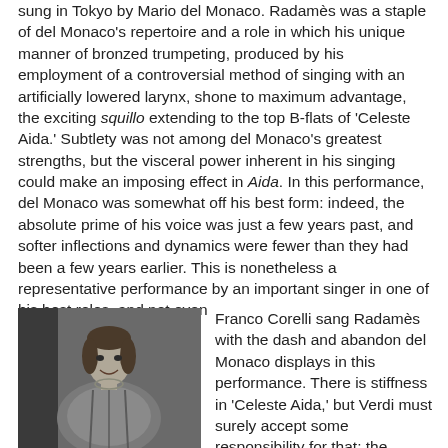sung in Tokyo by Mario del Monaco. Radamès was a staple of del Monaco's repertoire and a role in which his unique manner of bronzed trumpeting, produced by his employment of a controversial method of singing with an artificially lowered larynx, shone to maximum advantage, the exciting squillo extending to the top B-flats of 'Celeste Aida.' Subtlety was not among del Monaco's greatest strengths, but the visceral power inherent in his singing could make an imposing effect in Aida. In this performance, del Monaco was somewhat off his best form: indeed, the absolute prime of his voice was just a few years past, and softer inflections and dynamics were fewer than they had been a few years earlier. This is nonetheless a representative performance by an important singer in one of his best roles, and not even Franco Corelli sang Radamès with the dash and abandon del Monaco displays in this performance. There is stiffness in 'Celeste Aida,' but Verdi must surely accept some responsibility for that: the placement of a character's only aria ( and, at that, one of the most
[Figure (photo): Black and white photograph of a male opera singer in costume, shown from about the waist up, smiling slightly, wearing an ornate patterned costume consistent with an operatic role such as Radamès in Aida.]